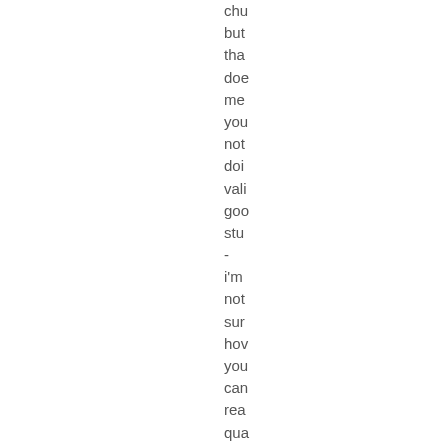chu
but
tha
doe
me
you
not
doi
vali
goo
stu
-
i'm
not
sur
hov
you
can
rea
qua
the
effe
of